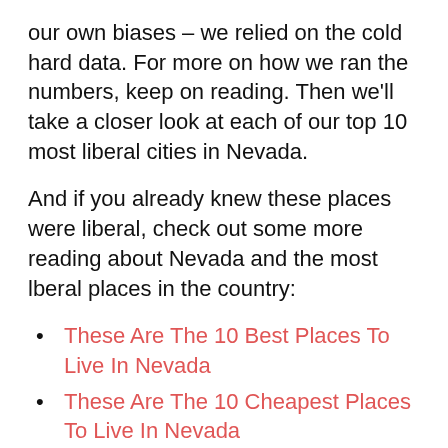our own biases – we relied on the cold hard data. For more on how we ran the numbers, keep on reading. Then we'll take a closer look at each of our top 10 most liberal cities in Nevada.
And if you already knew these places were liberal, check out some more reading about Nevada and the most lberal places in the country:
These Are The 10 Best Places To Live In Nevada
These Are The 10 Cheapest Places To Live In Nevada
Most liberal Cities To Live In America
Most liberal States To Live In America